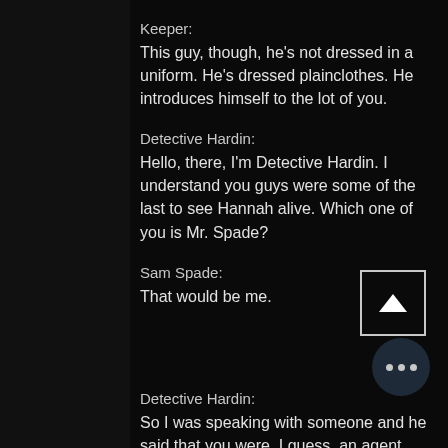Keeper:
This guy, though, he's not dressed in a uniform. He's dressed plainclothes. He introduces himself to the lot of you.
Detective Hardin:
Hello, there, I'm Detective Hardin. I understand you guys were some of the last to see Hannah alive. Which one of you is Mr. Spade?
Sam Spade:
That would be me.
[Figure (other): An up-arrow button inside a square outline box]
Detective Hardin:
So I was speaking with someone and he said that you were, I guess, an agent before?
[Figure (other): A circular button with three horizontal dots (ellipsis menu)]
Sam Spade: